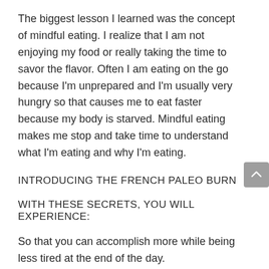The biggest lesson I learned was the concept of mindful eating. I realize that I am not enjoying my food or really taking the time to savor the flavor. Often I am eating on the go because I'm unprepared and I'm usually very hungry so that causes me to eat faster because my body is starved. Mindful eating makes me stop and take time to understand what I'm eating and why I'm eating.
INTRODUCING THE FRENCH PALEO BURN
WITH THESE SECRETS, YOU WILL EXPERIENCE:
So that you can accomplish more while being less tired at the end of the day.